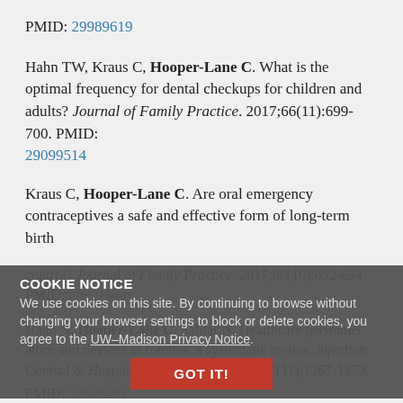PMID: 29989619
Hahn TW, Kraus C, Hooper-Lane C. What is the optimal frequency for dental checkups for children and adults? Journal of Family Practice. 2017;66(11):699-700. PMID: 29099514
Kraus C, Hooper-Lane C. Are oral emergency contraceptives a safe and effective form of long-term birth control? Journal of Family Practice. 2017;66(10):632-634. PMID: 28991943
Haun N, Hooper-Lane C, Safdar N. Healthcare personnel attire and devices as fomites: a systematic review. Infection Control & Hospital Epidemiology. 2016;37(11):1367-1373. PMID: 27609491
COOKIE NOTICE
We use cookies on this site. By continuing to browse without changing your browser settings to block or delete cookies, you agree to the UW–Madison Privacy Notice.